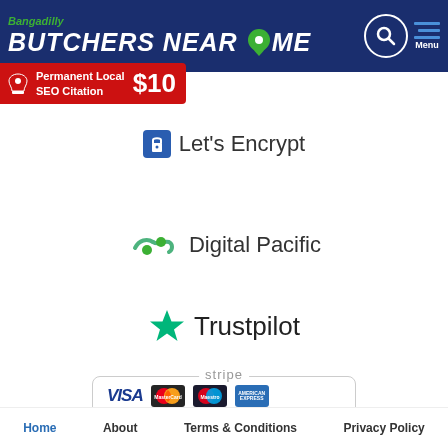Bangadilly BUTCHERS NEAR ME
[Figure (logo): Let's Encrypt logo with padlock icon]
[Figure (logo): Digital Pacific logo with green/teal ribbon icon]
[Figure (logo): Trustpilot logo with green star]
[Figure (logo): Stripe payment badge showing VISA, MasterCard, Maestro, American Express]
Home   About   Terms & Conditions   Privacy Policy